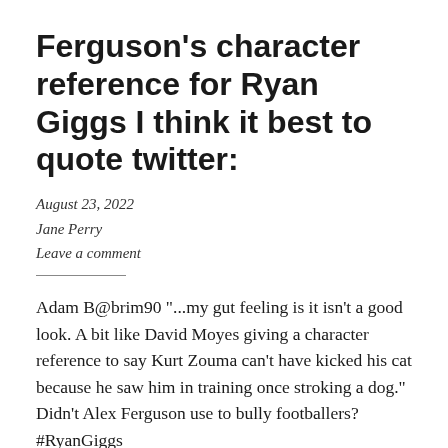Ferguson's character reference for Ryan Giggs I think it best to quote twitter:
August 23, 2022
Jane Perry
Leave a comment
Adam B@brim90 "...my gut feeling is it isn't a good look. A bit like David Moyes giving a character reference to say Kurt Zouma can't have kicked his cat because he saw him in training once stroking a dog." Didn't Alex Ferguson use to bully footballers? #RyanGiggs